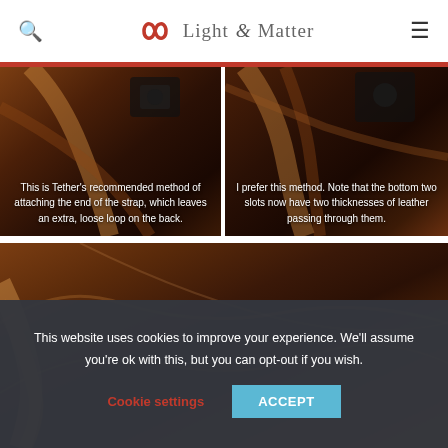Light & Matter
[Figure (photo): Close-up photo of a leather camera strap being attached, dark brown leather on wooden surface with camera hardware visible. Caption: 'This is Tether's recommended method of attaching the end of the strap, which leaves an extra, loose loop on the back.']
[Figure (photo): Close-up photo of leather camera strap slots with two thicknesses of leather passing through, dark background. Caption: 'I prefer this method. Note that the bottom two slots now have two thicknesses of leather passing through them.']
[Figure (photo): Large close-up photo of brown leather surface showing texture and curvature, warm brown tones on wooden surface.]
This website uses cookies to improve your experience. We'll assume you're ok with this, but you can opt-out if you wish.
Cookie settings  ACCEPT